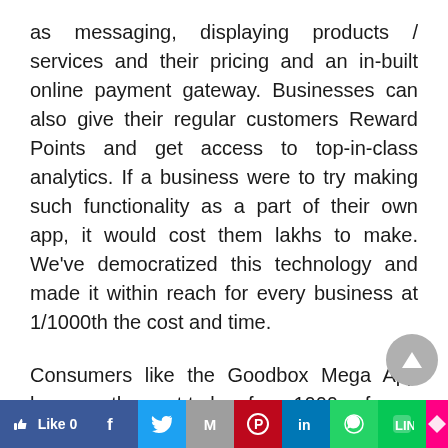as messaging, displaying products / services and their pricing and an in-built online payment gateway. Businesses can also give their regular customers Reward Points and get access to top-in-class analytics. If a business were to try making such functionality as a part of their own app, it would cost them lakhs to make. We've democratized this technology and made it within reach for every business at 1/1000th the cost and time.

Consumers like the Goodbox Mega App because they get to buy from 1000s of
[Figure (other): Scroll-to-top circular grey button with upward arrow]
[Figure (other): Social media sharing bar with Like 0, Facebook, Twitter, Gmail, Pinterest, LinkedIn, WhatsApp, Line, Flipboard buttons]